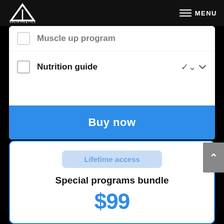[Figure (logo): GALI Athletics logo - white triangle/mountain shape with text GALIATHLETICS below]
MENU
Muscle up program
Nutrition guide
Buy now
Lifetime access
Special programs bundle
$99